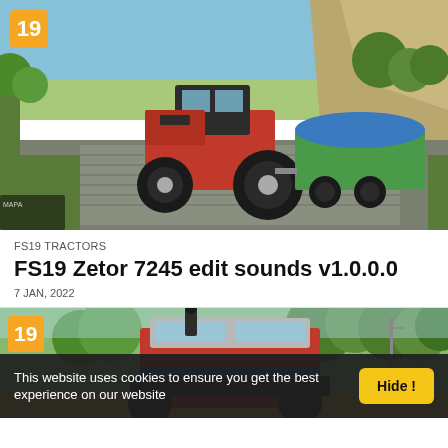[Figure (screenshot): Farming Simulator 19 game screenshot showing a red Zetor tractor pulling a green trailer with blue tarp on a cobblestone path surrounded by trees and hills. FS19 badge in top-left corner.]
FS19 TRACTORS
FS19 Zetor 7245 edit sounds v1.0.0.0
7 JAN, 2022
[Figure (screenshot): Farming Simulator 19 game screenshot showing a large red tractor from behind, with trees and farm environment in background. FS19 badge in top-left corner.]
This website uses cookies to ensure you get the best experience on our website